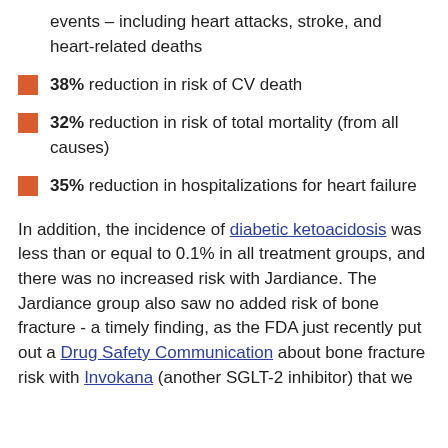events – including heart attacks, stroke, and heart-related deaths
38% reduction in risk of CV death
32% reduction in risk of total mortality (from all causes)
35% reduction in hospitalizations for heart failure
In addition, the incidence of diabetic ketoacidosis was less than or equal to 0.1% in all treatment groups, and there was no increased risk with Jardiance. The Jardiance group also saw no added risk of bone fracture - a timely finding, as the FDA just recently put out a Drug Safety Communication about bone fracture risk with Invokana (another SGLT-2 inhibitor) that we